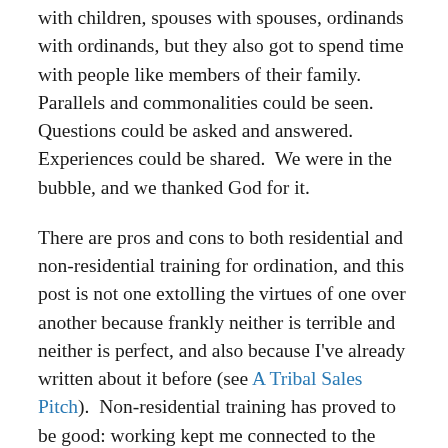with children, spouses with spouses, ordinands with ordinands, but they also got to spend time with people like members of their family.  Parallels and commonalities could be seen. Questions could be asked and answered.  Experiences could be shared.  We were in the bubble, and we thanked God for it.
There are pros and cons to both residential and non-residential training for ordination, and this post is not one extolling the virtues of one over another because frankly neither is terrible and neither is perfect, and also because I've already written about it before (see A Tribal Sales Pitch).  Non-residential training has proved to be good: working kept me connected to the world I would be leaving to serve, and being placed in a church for the majority of my training is giving me experience of building and living in a church community for over 3